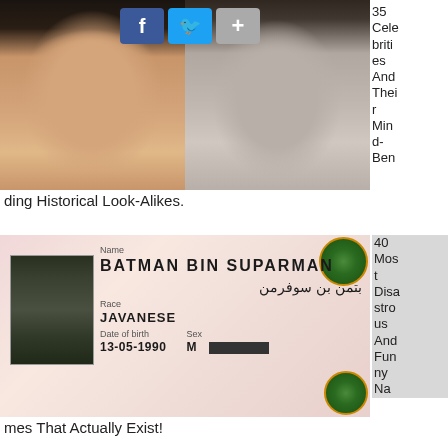[Figure (photo): Two side-by-side portraits: left is a color photo of a young woman with dark smoky eye makeup; right is a black-and-white vintage photo of a woman with similar features. Social media share buttons (Facebook, Twitter, +) overlay the top center.]
35 Celebrities And Their Mind-Bending Historical Look-Alikes.
[Figure (photo): Photo of a passport or ID card showing Name: BATMAN BIN SUPARMAN, Arabic text, Race: JAVANESE, Date of birth: 13-05-1990, Sex: M. A passport photo of a young dark-skinned boy is on the left. Decorative emblems visible at corners.]
40 Most Disastrous And Funny Names That Actually Exist!